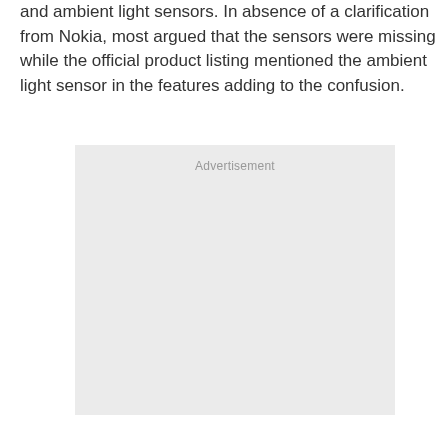and ambient light sensors. In absence of a clarification from Nokia, most argued that the sensors were missing while the official product listing mentioned the ambient light sensor in the features adding to the confusion.
[Figure (other): Advertisement placeholder box with light gray background and 'Advertisement' label text centered at the top.]